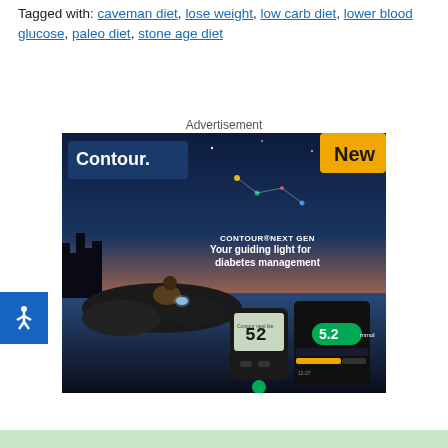Tagged with: caveman diet, lose weight, low carb diet, lower blood glucose, paleo diet, stone age diet
Advertisement
[Figure (photo): Advertisement for Contour Next Gen blood glucose meter. Shows a twilight lakeside scene with a person sitting on rocks holding a glowing object. Text reads: 'CONTOUR®NEXT GEN - Your guiding light for diabetes management'. Features the Contour blood glucose meter and a smartphone app showing reading of 5.2. Yellow 'New' banner in top right corner.]